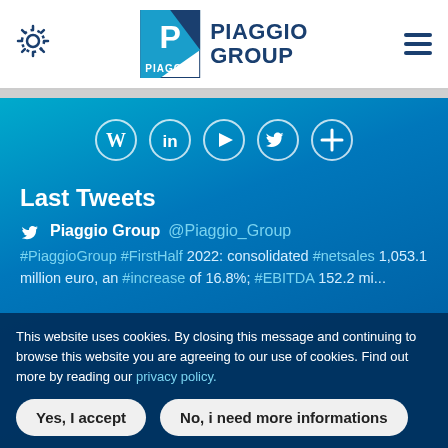[Figure (logo): Piaggio Group logo with gear icon on left and hamburger menu on right in white header bar]
[Figure (infographic): Social media icons row: Wikipedia, LinkedIn, YouTube, Twitter, plus sign — white circle outlines on blue gradient background]
Last Tweets
Piaggio Group @Piaggio_Group
#PiaggioGroup #FirstHalf 2022: consolidated #netsales 1,053.1 million euro, an #increase of 16.8%; #EBITDA 152.2 mi...
This website uses cookies. By closing this message and continuing to browse this website you are agreeing to our use of cookies. Find out more by reading our privacy policy.
Yes, I accept
No, i need more informations